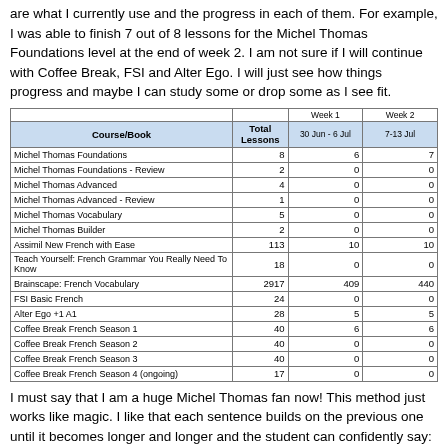are what I currently use and the progress in each of them. For example, I was able to finish 7 out of 8 lessons for the Michel Thomas Foundations level at the end of week 2. I am not sure if I will continue with Coffee Break, FSI and Alter Ego. I will just see how things progress and maybe I can study some or drop some as I see fit.
| Course/Book | Total Lessons | Week 1 30 Jun - 6 Jul | Week 2 7-13 Jul |
| --- | --- | --- | --- |
| Michel Thomas Foundations | 8 | 6 | 7 |
| Michel Thomas Foundations - Review | 2 | 0 | 0 |
| Michel Thomas Advanced | 4 | 0 | 0 |
| Michel Thomas Advanced - Review | 1 | 0 | 0 |
| Michel Thomas Vocabulary | 5 | 0 | 0 |
| Michel Thomas Builder | 2 | 0 | 0 |
| Assimil New French with Ease | 113 | 10 | 10 |
| Teach Yourself: French Grammar You Really Need To Know | 18 | 0 | 0 |
| Brainscape: French Vocabulary | 2917 | 409 | 440 |
| FSI Basic French | 24 | 0 | 0 |
| Alter Ego +1 A1 | 28 | 5 | 5 |
| Coffee Break French Season 1 | 40 | 6 | 6 |
| Coffee Break French Season 2 | 40 | 0 | 0 |
| Coffee Break French Season 3 | 40 | 0 | 0 |
| Coffee Break French Season 4 (ongoing) | 17 | 0 | 0 |
I must say that I am a huge Michel Thomas fan now! This method just works like magic. I like that each sentence builds on the previous one until it becomes longer and longer and the student can confidently say: Will you have dinner with me tonight at the house because I need to speak to you. It is very important for me.